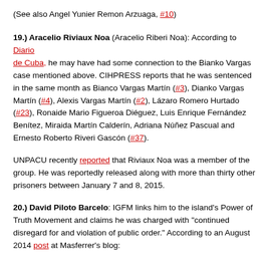(See also Angel Yunier Remon Arzuaga, #10)
19.) Aracelio Riviaux Noa (Aracelio Riberi Noa): According to Diario de Cuba, he may have had some connection to the Bianko Vargas case mentioned above. CIHPRESS reports that he was sentenced in the same month as Bianco Vargas Martín (#3), Dianko Vargas Martín (#4), Alexis Vargas Martín (#2), Lázaro Romero Hurtado (#23), Ronaide Mario Figueroa Diéguez, Luis Enrique Fernández Benítez, Miraida Martín Calderín, Adriana Núñez Pascual and Ernesto Roberto Riveri Gascón (#37).
UNPACU recently reported that Riviaux Noa was a member of the group. He was reportedly released along with more than thirty other prisoners between January 7 and 8, 2015.
20.) David Piloto Barcelo: IGFM links him to the island's Power of Truth Movement and claims he was charged with "continued disregard for and violation of public order." According to an August 2014 post at Masferrer's blog: